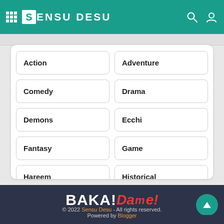SENSU DESU
Action
Adventure
Comedy
Drama
Demons
Ecchi
Fantasy
Game
Hareem
Historical
[Figure (logo): BAKA!Dame! logo in white and red/orange text]
© 2022 Sensu Desu - All rights reserved. Powered by Blogger